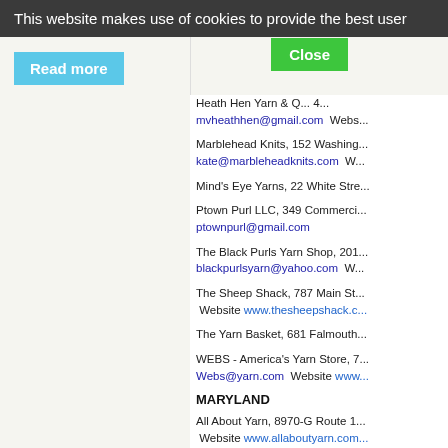This website makes use of cookies to provide the best user
Heath Hen Yarn & Q... 4... mvheathhen@gmail.com  Webs...
Marblehead Knits, 152 Washing... kate@marbleheadknits.com  W...
Mind's Eye Yarns, 22 White Stre...
Ptown Purl LLC, 349 Commerci... ptownpurl@gmail.com
The Black Purls Yarn Shop, 201... blackpurlsyarn@yahoo.com  W...
The Sheep Shack, 787 Main St...  Website www.thesheepshack.c...
The Yarn Basket, 681 Falmouth...
WEBS - America's Yarn Store, 7... Webs@yarn.com  Website www...
MARYLAND
All About Yarn, 8970-G Route 1...  Website www.allaboutyarn.com...
Lovelyarns, 3610 Falls Road, B... www.lovelyarns.com